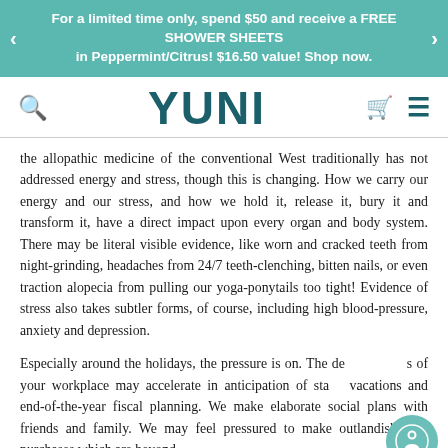For a limited time only, spend $50 and receive a FREE SHOWER SHEETS in Peppermint/Citrus! $16.50 value! Shop now.
[Figure (logo): YUNI brand logo in teal, with search icon on left, cart and menu icons on right]
the allopathic medicine of the conventional West traditionally has not addressed energy and stress, though this is changing. How we carry our energy and our stress, and how we hold it, release it, bury it and transform it, have a direct impact upon every organ and body system. There may be literal visible evidence, like worn and cracked teeth from night-grinding, headaches from 24/7 teeth-clenching, bitten nails, or even traction alopecia from pulling our yoga-ponytails too tight! Evidence of stress also takes subtler forms, of course, including high blood-pressure, anxiety and depression.
Especially around the holidays, the pressure is on. The demands of your workplace may accelerate in anticipation of staff vacations and end-of-the-year fiscal planning. We make elaborate social plans with friends and family. We may feel pressured to make outlandish gift-purchases which are beyond